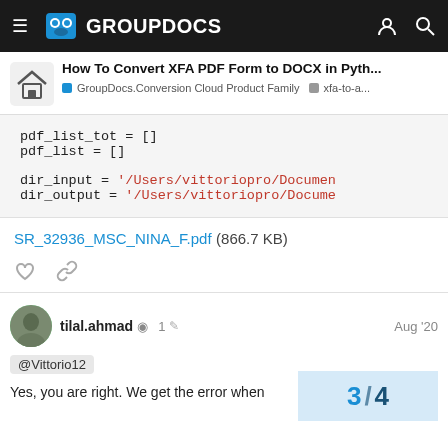GROUPDOCS
How To Convert XFA PDF Form to DOCX in Pyth... — GroupDocs.Conversion Cloud Product Family — xfa-to-a...
[Figure (screenshot): Code block showing Python code: pdf_list_tot = [], pdf_list = [], dir_input = '/Users/vittoriopro/Documen', dir_output = '/Users/vittoriopro/Docume']
SR_32936_MSC_NINA_F.pdf (866.7 KB)
tilal.ahmad  1  Aug '20
@Vittorio12
Yes, you are right. We get the error when
3 / 4